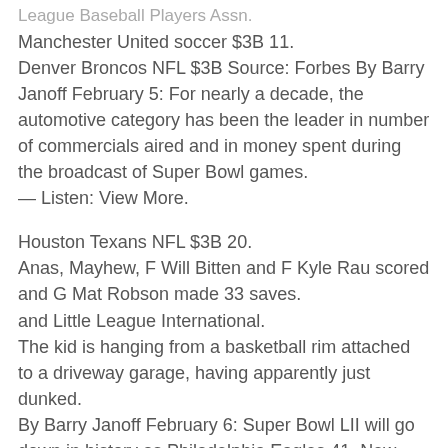League Baseball Players Assn.
Manchester United soccer $3B 11.
Denver Broncos NFL $3B Source: Forbes By Barry Janoff February 5: For nearly a decade, the automotive category has been the leader in number of commercials aired and in money spent during the broadcast of Super Bowl games.
— Listen: View More.
Houston Texans NFL $3B 20.
Anas, Mayhew, F Will Bitten and F Kyle Rau scored and G Mat Robson made 33 saves.
and Little League International.
The kid is hanging from a basketball rim attached to a driveway garage, having apparently just dunked.
By Barry Janoff February 6: Super Bowl LII will go down in history as Philadelphia Eagles 41, New England Patriots 33, with MVP Nick Foles of the Eagles passing for three touchdowns and catching another.